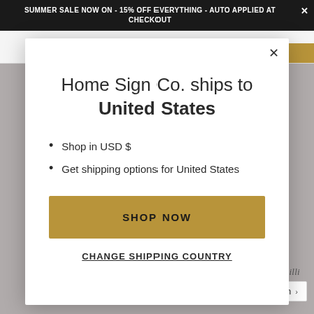SUMMER SALE NOW ON - 15% OFF EVERYTHING - AUTO APPLIED AT CHECKOUT
Home Sign Co. ships to United States
Shop in USD $
Get shipping options for United States
SHOP NOW
CHANGE SHIPPING COUNTRY
English